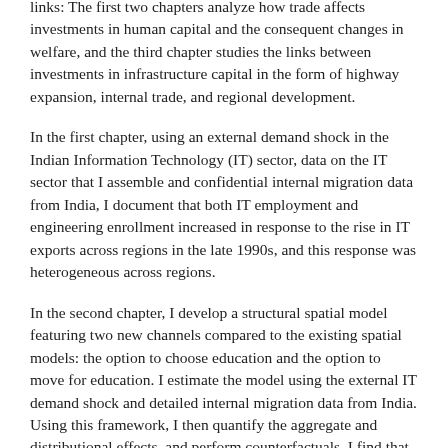links: The first two chapters analyze how trade affects investments in human capital and the consequent changes in welfare, and the third chapter studies the links between investments in infrastructure capital in the form of highway expansion, internal trade, and regional development.
In the first chapter, using an external demand shock in the Indian Information Technology (IT) sector, data on the IT sector that I assemble and confidential internal migration data from India, I document that both IT employment and engineering enrollment increased in response to the rise in IT exports across regions in the late 1990s, and this response was heterogeneous across regions.
In the second chapter, I develop a structural spatial model featuring two new channels compared to the existing spatial models: the option to choose education and the option to move for education. I estimate the model using the external IT demand shock and detailed internal migration data from India. Using this framework, I then quantify the aggregate and distributional effects, and perform counterfactuals. I find that without any of these channels, estimated aggregate welfare gains from the IT boom would be halved and estimated regional inequality